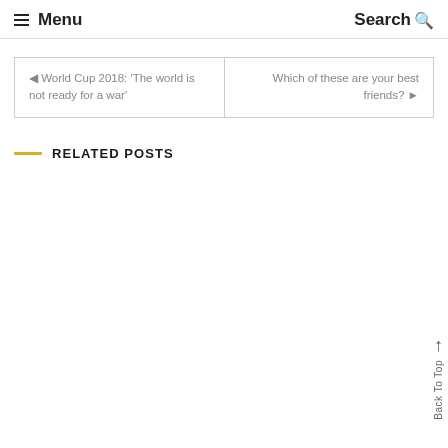Menu  Search
◄ World Cup 2018: 'The world is not ready for a war'
Which of these are your best friends? ►
RELATED POSTS
Back To Top